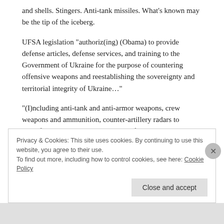and shells. Stingers. Anti-tank missiles. What's known may be the tip of the iceberg.
UFSA legislation "authoriz(ing) (Obama) to provide defense articles, defense services, and training to the Government of Ukraine for the purpose of countering offensive weapons and reestablishing the sovereignty and territorial integrity of Ukraine…"
"(I)ncluding anti-tank and anti-armor weapons, crew weapons and ammunition, counter-artillery radars to identify and target artillery batteries, fire control, range finder, and optical and guidance and control equipment, tactical troop-operated surveillance drones, and secure command and communications equipment."
Privacy & Cookies: This site uses cookies. By continuing to use this website, you agree to their use.
To find out more, including how to control cookies, see here: Cookie Policy